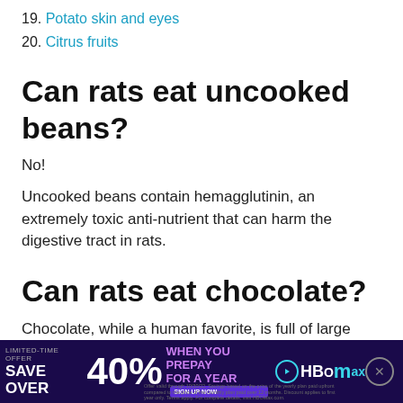19. Potato skin and eyes
20. Citrus fruits
Can rats eat uncooked beans?
No!
Uncooked beans contain hemagglutinin, an extremely toxic anti-nutrient that can harm the digestive tract in rats.
Can rats eat chocolate?
Chocolate, while a human favorite, is full of large amounts of sugar and caffeine, both of which can be toxic to rats in large doses.
For this
[Figure (screenshot): HBO Max advertisement banner: LIMITED-TIME OFFER SAVE OVER 40% WHEN YOU PREPAY FOR A YEAR with HBO Max logo and sign up button. Fine print at bottom.]